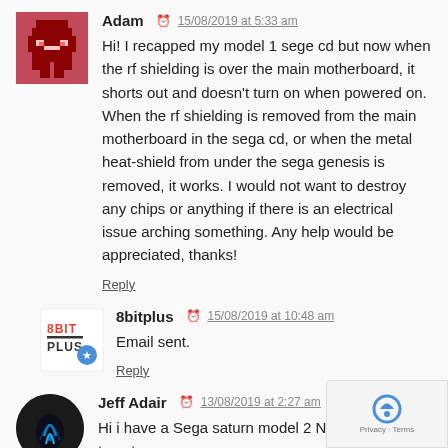[Figure (illustration): Adam user avatar - pixel art style dark red/maroon character on pink background]
Adam  15/08/2019 at 5:33 am
Hi! I recapped my model 1 sege cd but now when the rf shielding is over the main motherboard, it shorts out and doesn't turn on when powered on. When the rf shielding is removed from the main motherboard in the sega cd, or when the metal heat-shield from under the sega genesis is removed, it works. I would not want to destroy any chips or anything if there is an electrical issue arching something. Any help would be appreciated, thanks!
Reply
[Figure (logo): 8bitplus logo - text logo with star icon]
8bitplus  15/08/2019 at 10:48 am
Email sent.
Reply
[Figure (photo): Jeff Adair user avatar - dark circular avatar with blue glowing hand/symbol]
Jeff Adair  13/08/2019 at 2:27 am
Hi i have a Sega saturn model 2 NTSC that i want to get
[Figure (other): reCAPTCHA badge with logo, Privacy and Terms links]